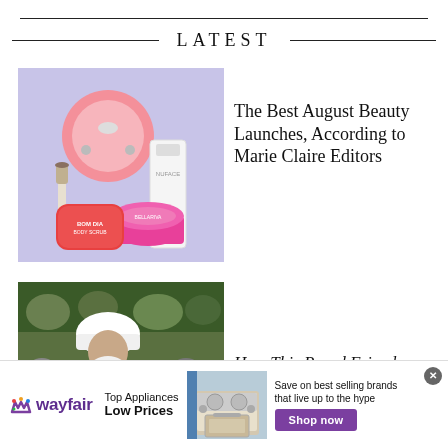LATEST
[Figure (photo): Beauty products including a pink facial cleansing device, makeup brush, body scrub container, pink face cream jar, and NuFace skincare bottle on a lavender background]
The Best August Beauty Launches, According to Marie Claire Editors
[Figure (photo): An elderly man with a white beard and white turban sitting in stadium seating]
How This Proud Friend...
[Figure (infographic): Wayfair advertisement: Top Appliances Low Prices, Save on best selling brands that live up to the hype, Shop now button, image of a stove/range appliance]